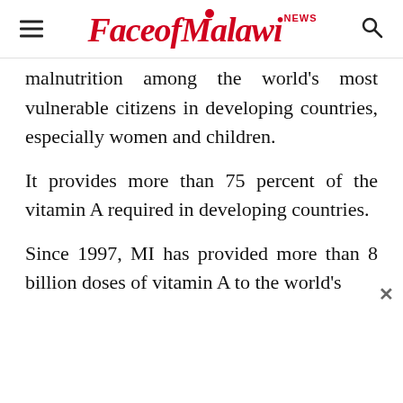FaceofMalawi NEWS
malnutrition among the world's most vulnerable citizens in developing countries, especially women and children.
It provides more than 75 percent of the vitamin A required in developing countries.
Since 1997, MI has provided more than 8 billion doses of vitamin A to the world's